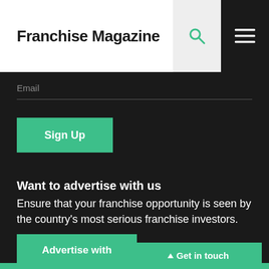Franchise Magazine
Email
Sign Up
Want to advertise with us
Ensure that your franchise opportunity is seen by the country's most serious franchise investors.
Advertise with
▲ Get in touch